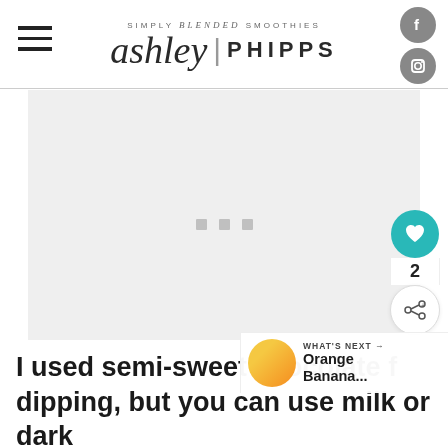ashley | PHIPPS — SIMPLY BLENDED SMOOTHIES
[Figure (other): Advertisement placeholder area with three small grey dots in the center on a light grey background]
I used semi-sweet chocolate for dipping, but you can use milk or dark chocolate if you prefer. And if